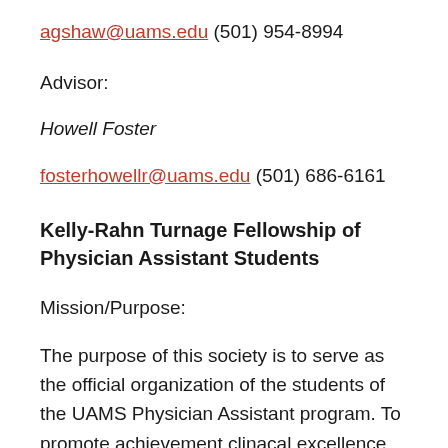agshaw@uams.edu (501) 954-8994
Advisor:
Howell Foster
fosterhowellr@uams.edu (501) 686-6161
Kelly-Rahn Turnage Fellowship of Physician Assistant Students
Mission/Purpose:
The purpose of this society is to serve as the official organization of the students of the UAMS Physician Assistant program. To promote achievement clinacal excellence ands to promote the Physician Assistant as the